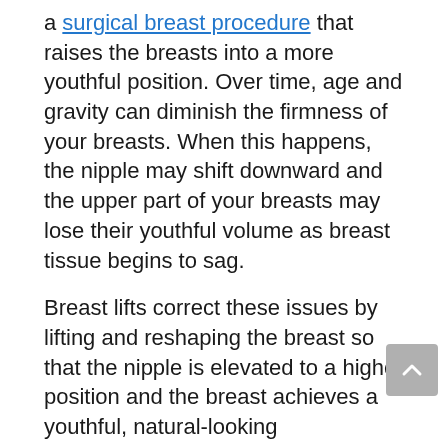a surgical breast procedure that raises the breasts into a more youthful position. Over time, age and gravity can diminish the firmness of your breasts. When this happens, the nipple may shift downward and the upper part of your breasts may lose their youthful volume as breast tissue begins to sag.
Breast lifts correct these issues by lifting and reshaping the breast so that the nipple is elevated to a higher position and the breast achieves a youthful, natural-looking appearance.
Breast lifts are ideal for women who:
Have drooping breasts due to aging